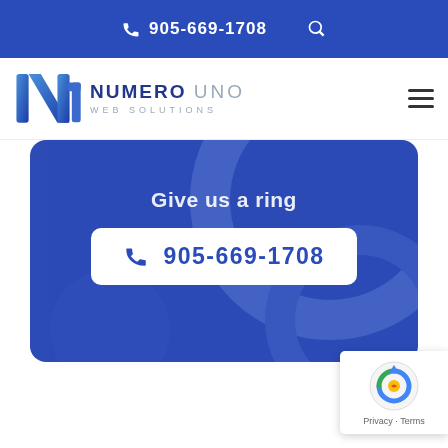905-669-1708
[Figure (logo): Numero Uno Web Solutions logo with blue N1 icon and text]
Give us a ring
905-669-1708
[Figure (other): reCAPTCHA badge with Privacy and Terms links]